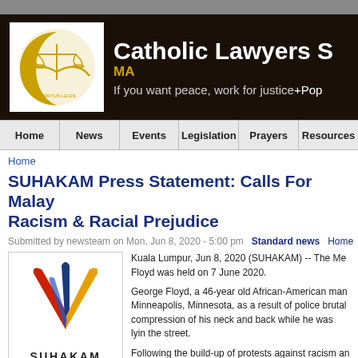[Figure (logo): Catholic Lawyers Society Malaysia logo with scales of justice]
Catholic Lawyers S MA If you want peace, work for justice +Pop
Home | News | Events | Legislation | Prayers | Resources
Home
SUHAKAM Press Statement: Calls For Malay Racism & Racial Prejudice
Submitted by newsteam on Mon, Jun 8, 2020 - 5:00 pm   Standard news   Home   Indiv
[Figure (logo): SUHAKAM logo with colorful feather/wing design and text HAK ASASI UNTUK SEMUA]
Kuala Lumpur, Jun 8, 2020 (SUHAKAM) -- The Me Floyd was held on 7 June 2020.
George Floyd, a 46-year old African-American man Minneapolis, Minnesota, as a result of police brutal compression of his neck and back while he was lyin the street.
Following the build-up of protests against racism an States, some of the members of our local communit